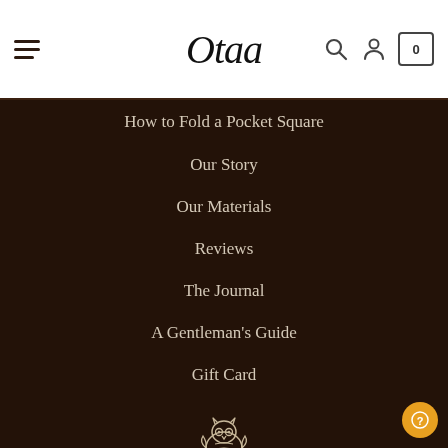Otaa — navigation header with hamburger menu, logo, search, account, and cart icons
How to Fold a Pocket Square
Our Story
Our Materials
Reviews
The Journal
A Gentleman's Guide
Gift Card
[Figure (logo): Otaa owl logo outline in white/cream on dark brown background]
Contact Us
Retailers